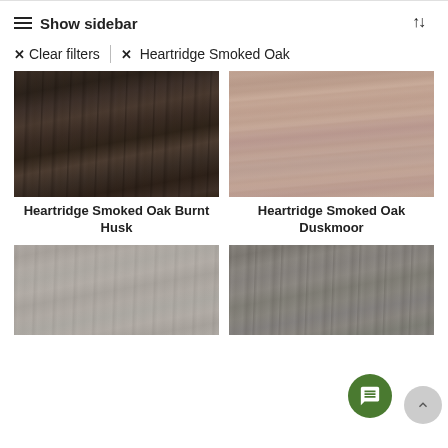Show sidebar
× Clear filters  |  × Heartridge Smoked Oak
[Figure (photo): Dark brown smoked oak wood flooring texture - Heartridge Smoked Oak Burnt Husk]
Heartridge Smoked Oak Burnt Husk
[Figure (photo): Light pinkish-beige smoked oak wood flooring texture - Heartridge Smoked Oak Duskmoor]
Heartridge Smoked Oak Duskmoor
[Figure (photo): Light gray smoked oak wood flooring texture - partially visible at bottom]
[Figure (photo): Dark gray smoked oak wood flooring texture - partially visible at bottom with chat button overlay]